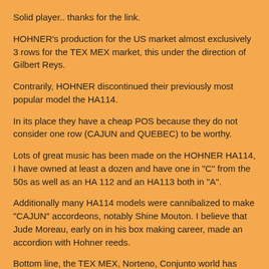Solid player.. thanks for the link.
HOHNER's production for the US market almost exclusively 3 rows for the TEX MEX market, this under the direction of Gilbert Reys.
Contrarily, HOHNER discontinued their previously most popular model the HA114.
In its place they have a cheap POS because they do not consider one row (CAJUN and QUEBEC) to be worthy.
Lots of great music has been made on the HOHNER HA114, I have owned at least a dozen and have one in "C" from the 50s as well as an HA 112 and an HA113 both in "A".
Additionally many HA114 models were cannibalized to make "CAJUN" accordeons, notably Shine Mouton. I believe that Jude Moreau, early on in his box making career, made an accordion with Hohner reeds.
Bottom line, the TEX MEX, Norteno, Conjunto world has risen to an all time high and changed the direction of what was once the largest accordeon making company in the world.
This may not be the goal of the CAJUN music world , but it is